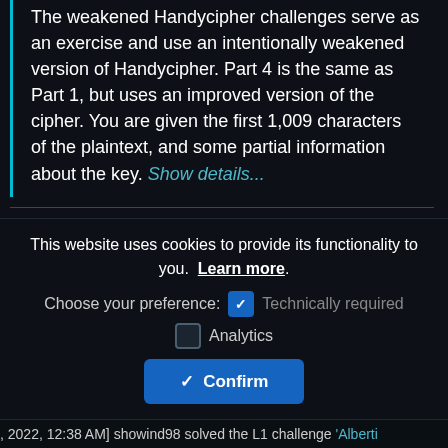The weakened Handycipher challenges serve as an exercise and use an intentionally weakened version of Handycipher. Part 4 is the same as Part 1, but uses an improved version of the cipher. You are given the first 1,009 characters of the plaintext, and some partial information about the key. Show details...
Solve this challenge
5 users have already solved this challenge.
You need to be logged in to solve this challenge.
This website uses cookies to provide its functionality to you. Learn more.
Choose your preference: Technically required
Analytics
Confirm
, 2022, 12:38 AM] showind98 solved the L1 challenge 'Alberti